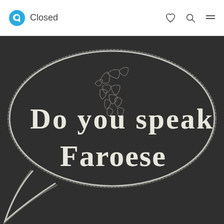Closed
[Figure (illustration): Chalkboard image with a speech bubble drawn in chalk containing the text 'Do you speak Faroese' with a faint chalk outline of the Faroe Islands map in the background]